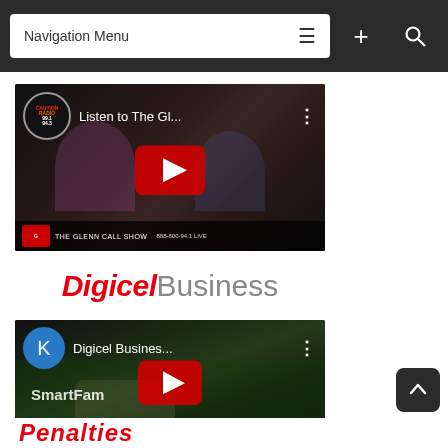Navigation Menu
[Figure (screenshot): YouTube video thumbnail: Listen to The Gl... (Glenn Call Show radio podcast video)]
[Figure (logo): Digicel Business logo - red italic Digicel text followed by gray Business text]
[Figure (screenshot): YouTube video thumbnail: Digicel Business... (SmartFam product video with K channel icon)]
[Figure (logo): Penalties logo in red italic bold text at bottom of page]